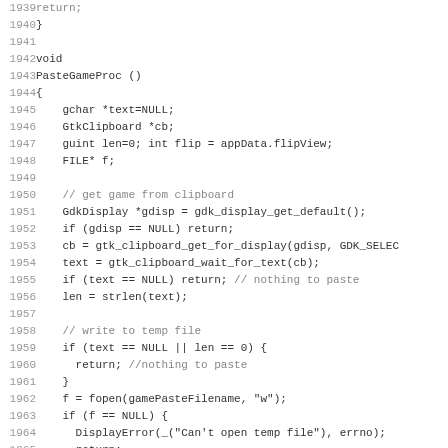[Figure (screenshot): Source code listing showing C function PasteGameProc(), lines 1939-1971, with line numbers on the left and monospace code on the right. The code handles pasting a game from clipboard, writing to a temp file, and loading from file.]